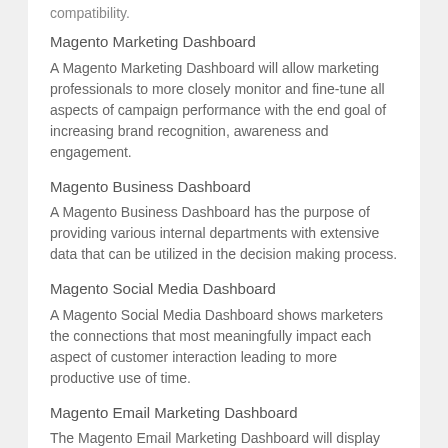compatibility.
Magento Marketing Dashboard
A Magento Marketing Dashboard will allow marketing professionals to more closely monitor and fine-tune all aspects of campaign performance with the end goal of increasing brand recognition, awareness and engagement.
Magento Business Dashboard
A Magento Business Dashboard has the purpose of providing various internal departments with extensive data that can be utilized in the decision making process.
Magento Social Media Dashboard
A Magento Social Media Dashboard shows marketers the connections that most meaningfully impact each aspect of customer interaction leading to more productive use of time.
Magento Email Marketing Dashboard
The Magento Email Marketing Dashboard will display key metics that visualize the performance and ROI of your email campaigns, and includes pertinent metrics like open and click rates, leads generated, and list growth.
Through planning, efficient coding, relentless implementation, and data analysis, we have been changing the face of e-